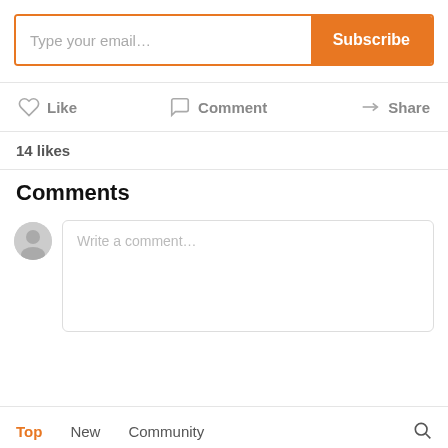[Figure (screenshot): Email subscription input field with placeholder 'Type your email...' and an orange Subscribe button]
[Figure (infographic): Action bar with Like (heart icon), Comment (speech bubble icon), and Share (arrow icon) buttons]
14 likes
Comments
[Figure (screenshot): Comment input box with user avatar and placeholder text 'Write a comment...']
Top  New  Community